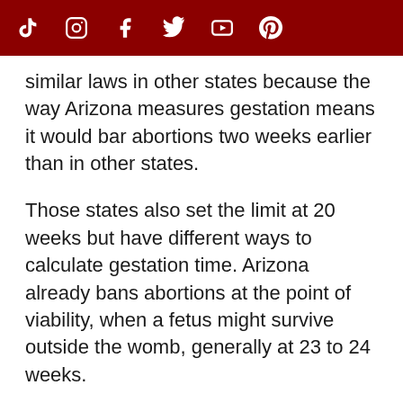Social media icons: TikTok, Instagram, Facebook, Twitter, YouTube, Pinterest
similar laws in other states because the way Arizona measures gestation means it would bar abortions two weeks earlier than in other states.
Those states also set the limit at 20 weeks but have different ways to calculate gestation time. Arizona already bans abortions at the point of viability, when a fetus might survive outside the womb, generally at 23 to 24 weeks.
Three abortion providers challenged the law in court. Last August, the 9th Circuit blocked the law from going into effect, pending a